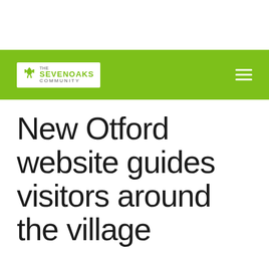The Sevenoaks Community
New Otford website guides visitors around the village